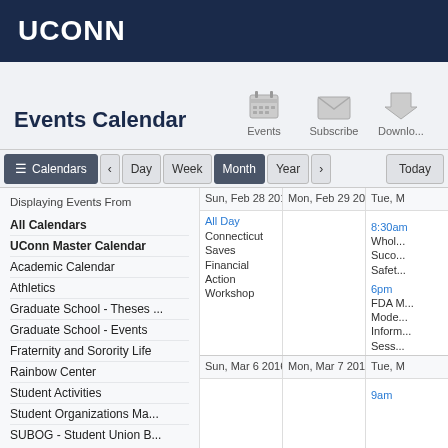UCONN
Events Calendar
Events  Subscribe  Download
Calendars  Day  Week  Month  Year  Today
Displaying Events From
All Calendars
UConn Master Calendar
Academic Calendar
Athletics
Graduate School - Theses ...
Graduate School - Events
Fraternity and Sorority Life
Rainbow Center
Student Activities
Student Organizations Ma...
SUBOG - Student Union B...
| Sun, Feb 28 2016 | Mon, Feb 29 2016 | Tue, M... |
| --- | --- | --- |
| All Day
Connecticut Saves Financial Action Workshop |  | 8:30am
Whol... Suco... Safet...
6pm
FDA Mo... Inform... Sess... |
| Sun, Mar 6 2016 | Mon, Mar 7 2016 | Tue, M...
9am |